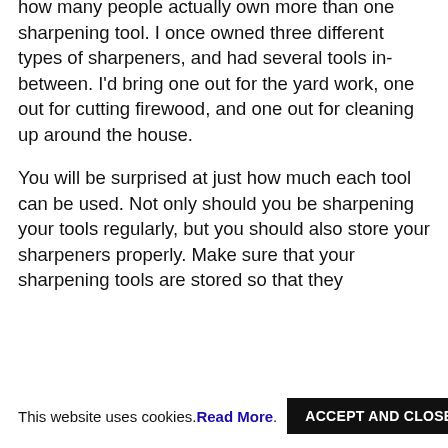how many people actually own more than one sharpening tool. I once owned three different types of sharpeners, and had several tools in-between. I'd bring one out for the yard work, one out for cutting firewood, and one out for cleaning up around the house.
You will be surprised at just how much each tool can be used. Not only should you be sharpening your tools regularly, but you should also store your sharpeners properly. Make sure that your sharpening tools are stored so that they
This website uses cookies. Read More. ACCEPT AND CLOSE